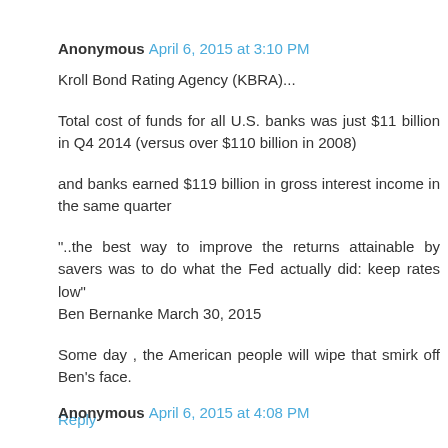Anonymous April 6, 2015 at 3:10 PM
Kroll Bond Rating Agency (KBRA)...
Total cost of funds for all U.S. banks was just $11 billion in Q4 2014 (versus over $110 billion in 2008)
and banks earned $119 billion in gross interest income in the same quarter
"..the best way to improve the returns attainable by savers was to do what the Fed actually did: keep rates low" Ben Bernanke March 30, 2015
Some day , the American people will wipe that smirk off Ben's face.
Reply
Anonymous April 6, 2015 at 4:08 PM